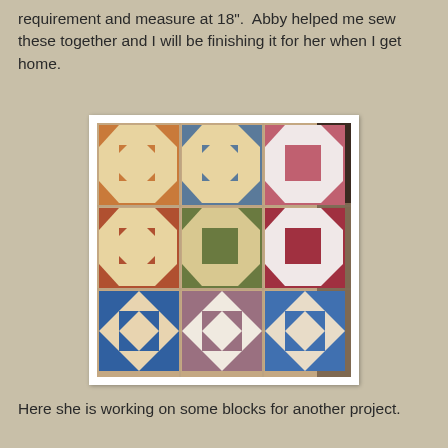requirement and measure at 18".  Abby helped me sew these together and I will be finishing it for her when I get home.
[Figure (photo): A photograph of a patchwork quilt laid out on the floor, showing multiple colorful quilt blocks arranged in a grid pattern with various fabric patterns and colors including orange, blue, red, pink, green, and brown tones.]
Here she is working on some blocks for another project.